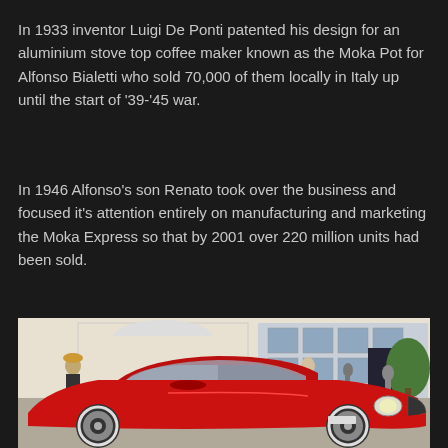In 1933 inventor Luigi De Ponti patented his design for an aluminium stove top coffee maker known as the Moka Pot for Alfonso Bialetti who sold 70,000 of them locally in Italy up until the start of '39-'45 war.
In 1946 Alfonso's son Renato took over the business and focused it's attention entirely on manufacturing and marketing the Moka Express so that by 2001 over 220 million units had been sold.
[Figure (photo): A classic red Ferrari sports car (likely a 250 GT) parked outdoors on a sunny day in front of a white building with arched windows. Several people are visible in the background.]